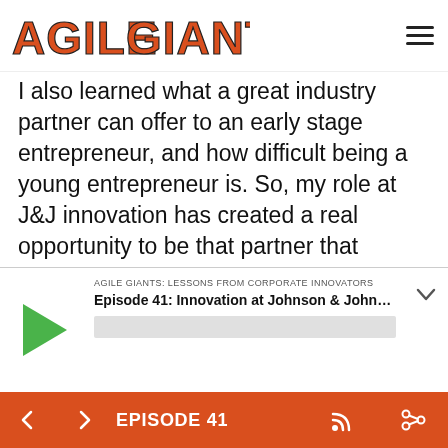AGILE GIANTS
I also learned what a great industry partner can offer to an early stage entrepreneur, and how difficult being a young entrepreneur is. So, my role at J&J innovation has created a real opportunity to be that partner that entrepreneurs seek in the company and can give that kind of support that I've always looked for when I was in that situation. I think that what we try to do now that I'm at J&J is understand the
AGILE GIANTS: LESSONS FROM CORPORATE INNOVATORS
Episode 41: Innovation at Johnson & Johnson wit...
EPISODE 41